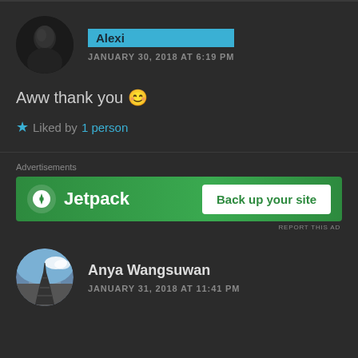Alexi — JANUARY 30, 2018 AT 6:19 PM
Aww thank you 😊
★ Liked by 1 person
[Figure (other): Jetpack advertisement banner: Back up your site]
REPORT THIS AD
Anya Wangsuwan — JANUARY 31, 2018 AT 11:41 PM